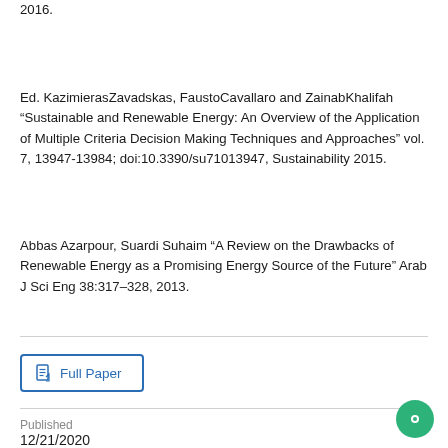2016.
Ed. KazimierasZavadskas, FaustoCavallaro and ZainabKhalifah “Sustainable and Renewable Energy: An Overview of the Application of Multiple Criteria Decision Making Techniques and Approaches” vol. 7, 13947-13984; doi:10.3390/su71013947, Sustainability 2015.
Abbas Azarpour, Suardi Suhaim “A Review on the Drawbacks of Renewable Energy as a Promising Energy Source of the Future” Arab J Sci Eng 38:317–328, 2013.
Full Paper
Published
12/21/2020